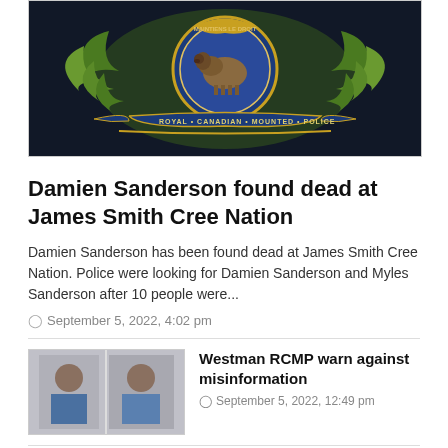[Figure (photo): Royal Canadian Mounted Police (RCMP) badge/crest on dark background, showing bison in center circle, maple leaves, and text 'Royal Canadian Mounted Police']
Damien Sanderson found dead at James Smith Cree Nation
Damien Sanderson has been found dead at James Smith Cree Nation. Police were looking for Damien Sanderson and Myles Sanderson after 10 people were...
September 5, 2022, 4:02 pm
[Figure (photo): Mugshot photos of two men side by side]
Westman RCMP warn against misinformation
September 5, 2022, 12:49 pm
[Figure (photo): Outdoor photo, green foliage visible]
Westman RCMP warn against misinformation